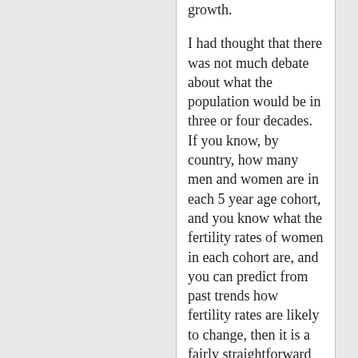growth. I had thought that there was not much debate about what the population would be in three or four decades. If you know, by country, how many men and women are in each 5 year age cohort, and you know what the fertility rates of women in each cohort are, and you can predict from past trends how fertility rates are likely to change, then it is a fairly straightforward computation to predict how population grows with time. These